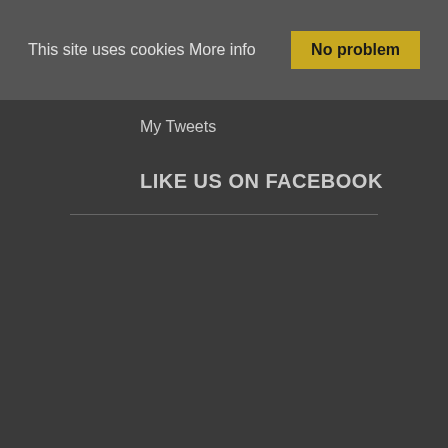This site uses cookies More info
No problem
My Tweets
LIKE US ON FACEBOOK